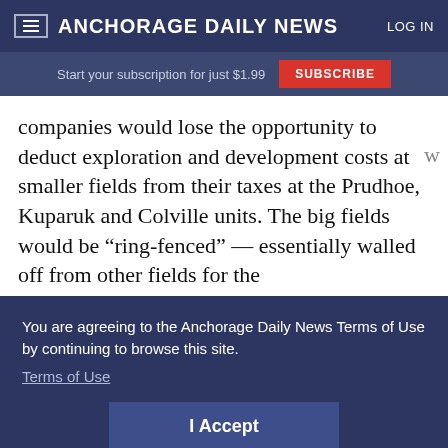ANCHORAGE DAILY NEWS
Start your subscription for just $1.99
companies would lose the opportunity to deduct exploration and development costs at smaller fields from their taxes at the Prudhoe, Kuparuk and Colville units. The big fields would be “ring-fenced” — essentially walled off from other fields for the
You are agreeing to the Anchorage Daily News Terms of Use by continuing to browse this site.
Terms of Use
I Accept